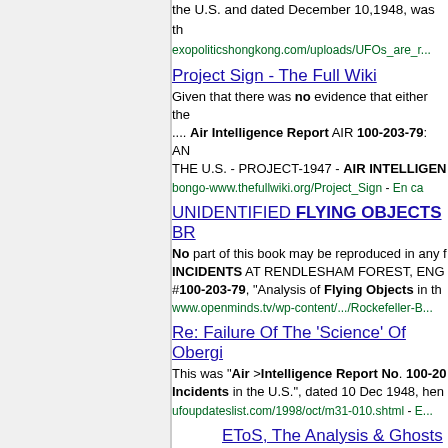the U.S. and dated December 10,1948, was the... exopoliticshongkong.com/uploads/UFOs_are_r...
Project Sign - The Full Wiki
Given that there was no evidence that either the.... Air Intelligence Report AIR 100-203-79: AN... THE U.S. - PROJECT-1947 - AIR INTELLIGEN... bongo-www.thefullwiki.org/Project_Sign - En ca...
UNIDENTIFIED FLYING OBJECTS BR...
No part of this book may be reproduced in any f... INCIDENTS AT RENDLESHAM FOREST, ENG... #100-203-79, "Analysis of Flying Objects in the... www.openminds.tv/wp-content/.../Rockefeller-B...
Re: Failure Of The 'Science' Of Oberg...
This was "Air >Intelligence Report No. 100-20... Incidents in the U.S.", dated 10 Dec 1948, hen... ufoupdateslist.com/1998/oct/m31-010.shtml - E...
EToS, The Analysis & Ghosts
100-203-79, ANALYSIS OF FLYING OB... www.ufoupdateslist.com/1998/nov/m03-0...
The Rockefeller Report 1/2
(9) U.S. Air Intelligence Report 100-203... www.ufoupdateslist.com/1997/jan/m11-0...
Roswell: Historical Facts - Pt 2.
There's no doubt that the Air Force belie...